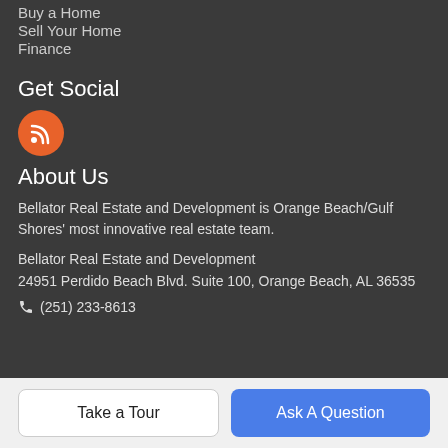Buy a Home
Sell Your Home
Finance
Get Social
[Figure (illustration): Orange circle with RSS/wifi feed icon in white]
About Us
Bellator Real Estate and Development is Orange Beach/Gulf Shores' most innovative real estate team.
Bellator Real Estate and Development
24951 Perdido Beach Blvd. Suite 100, Orange Beach, AL 36535
(251) 233-8613
Take a Tour
Ask A Question